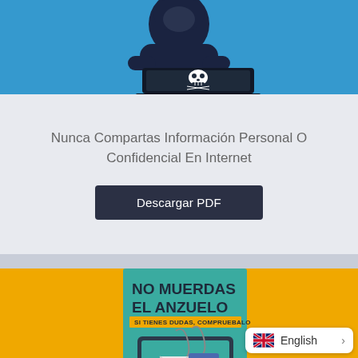[Figure (illustration): Hacker figure in blue background with skull and crossbones on laptop]
Nunca Compartas Información Personal O Confidencial En Internet
Descargar PDF
[Figure (infographic): Anti-phishing poster: NO MUERDAS EL ANZUELO - SI TIENES DUDAS, COMPRUEBALO. Teal poster on yellow background with monitor showing fishing hook with credit card and envelope.]
English >